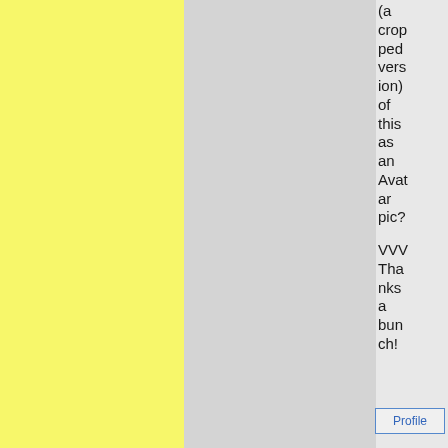[Figure (other): Yellow textured panel on the left side of the page]
[Figure (other): Gray panel in the center of the page]
(a cropped version) of this as an Avatar pic?

VVV Thanks a bunch!
Profile